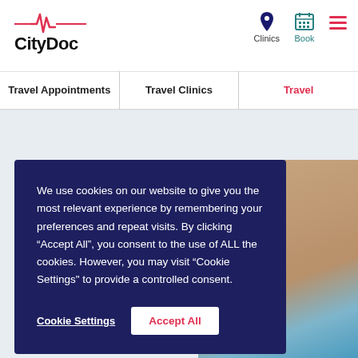[Figure (logo): CityDoc logo with pink heartbeat wave line above bold text 'CityDoc']
Clinics | Book | (hamburger menu)
Travel Appointments | Travel Clinics | Travel
[Figure (screenshot): Partial background image showing a medical professional in blue scrubs and white gloves, partially obscured by cookie consent modal]
We use cookies on our website to give you the most relevant experience by remembering your preferences and repeat visits. By clicking “Accept All”, you consent to the use of ALL the cookies. However, you may visit “Cookie Settings” to provide a controlled consent.
Cookie Settings   Accept All